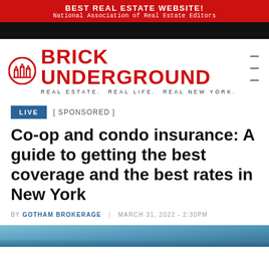BEST REAL ESTATE WEBSITE! National Association of Real Estate Editors
[Figure (logo): Brick Underground logo: red circular city skyline icon, red bold text BRICK UNDERGROUND, tagline REAL ESTATE. REAL LIFE. REAL NEW YORK.]
LIVE  [ SPONSORED ]
Co-op and condo insurance: A guide to getting the best coverage and the best rates in New York
BY GOTHAM BROKERAGE  |  MARCH 31, 2022 - 2:30PM
[Figure (photo): Partial photo strip at bottom of page, appears to show a blue sky or cityscape scene]